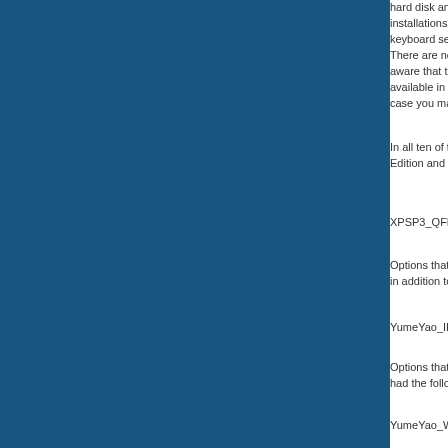hard disk and leave... installations are se... keyboard settings o... There are no adver... aware that the "Re... available in these t... case you make a s...
In all ten of the Win... Edition and MicroX...
XPSP3_QFE_Upd...
Options that includ... in addition to the Q...
YumeYao_IE8_Add...
Options that includ... had the following a...
YumeYao_WMP11...